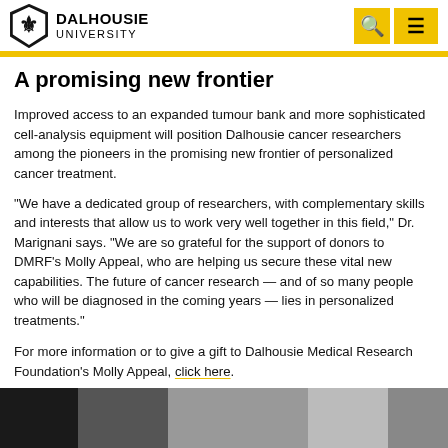DALHOUSIE UNIVERSITY
A promising new frontier
Improved access to an expanded tumour bank and more sophisticated cell-analysis equipment will position Dalhousie cancer researchers among the pioneers in the promising new frontier of personalized cancer treatment.
"We have a dedicated group of researchers, with complementary skills and interests that allow us to work very well together in this field," Dr. Marignani says. "We are so grateful for the support of donors to DMRF's Molly Appeal, who are helping us secure these vital new capabilities. The future of cancer research — and of so many people who will be diagnosed in the coming years — lies in personalized treatments."
For more information or to give a gift to Dalhousie Medical Research Foundation's Molly Appeal, click here.
[Figure (photo): Group photo of Dalhousie researchers, partially visible at bottom of page]